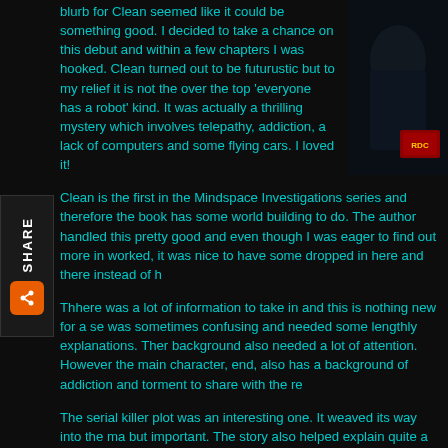blurb for Clean seemed like it could be something good. I decided to take a chance on this debut and within a few chapters I was hooked. Clean turned out to be futurustic but to my relief it is not the over the top 'everyone has a robot' kind. It was actually a thrilling mystery which involves telepathy, addiction, a lack of computers and some flying cars. I loved it!
[Figure (photo): Dark book cover image in top right corner with orange/red graphic element]
Clean is the first in the Mindspace Investigations series and therefore the book has some world building to do. The author handled this pretty good and even though I was eager to find out more in worked, it was nice to have some dropped in here and there instead of h
Thhere was a lot of information to take in and this is nothing new for a se was sometimes confusing and needed some lengthly explanations. Ther background also needed a lot of attention. However the main character, end, also has a background of addiction and torment to share with the re
The serial killer plot was an interesting one. It weaved its way into the ma but important. The story also helped explain quite a bit of the background original world and bunch of characters the author has created.
Clean is quite spectacular and I am in awe. There are so many establish managed to come up with some wild and wonderful ideas which make yo there. Clean shows that there is more. There is still unique, special